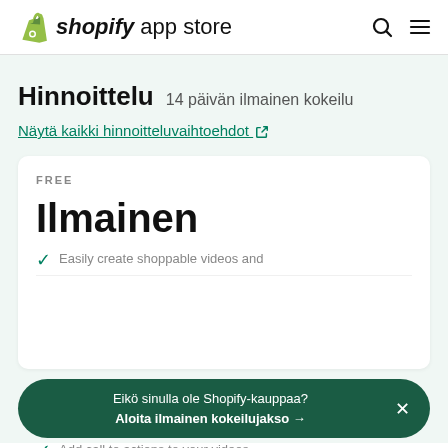[Figure (logo): Shopify App Store logo with green bag icon, bold italic 'shopify' and regular 'app store' text, plus search and menu icons]
Hinnoittelu  14 päivän ilmainen kokeilu
Näytä kaikki hinnoitteluvaihtoehdot ↗
FREE
Ilmainen
Easily create shoppable videos and
Add call to actions to your videos
Eikö sinulla ole Shopify-kauppaa?
Aloita ilmainen kokeilujakso →